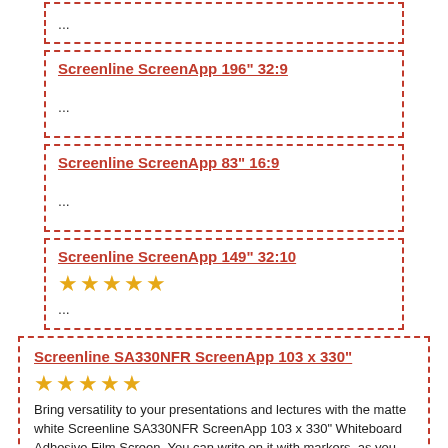...
Screenline ScreenApp 196" 32:9
...
Screenline ScreenApp 83" 16:9
...
Screenline ScreenApp 149" 32:10
★★★★★
...
Screenline SA330NFR ScreenApp 103 x 330"
★★★★★
Bring versatility to your presentations and lectures with the matte white Screenline SA330NFR ScreenApp 103 x 330" Whiteboard Adhesive Film Screen. You can write on it with markers–as you would a conventional whiteboard–use optical pens in conjunction with an interactive projector, or use it as a traditional projector screen. It featur...